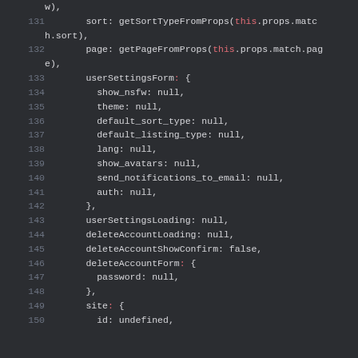[Figure (screenshot): Code screenshot showing JavaScript/JSX source code lines 131-150, dark theme editor with line numbers. Shows sort, page, userSettingsForm, and other properties with null values.]